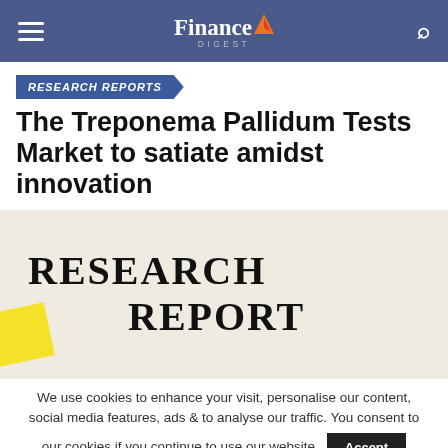Finance Digest
RESEARCH REPORTS
The Treponema Pallidum Tests Market to satiate amidst innovation
[Figure (photo): Handwritten text reading 'RESEARCH REPORT' on white paper with a yellow sticky note in the corner]
We use cookies to enhance your visit, personalise our content, social media features, ads & to analyse our traffic. You consent to our cookies if you continue to use our website.
Read More